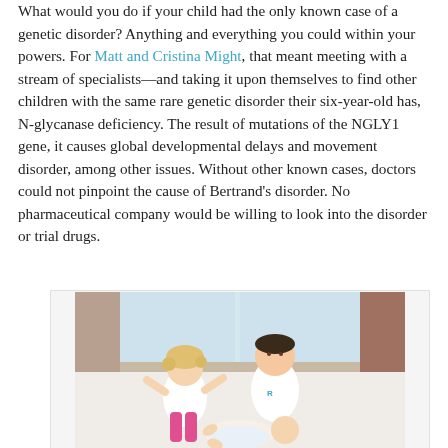What would you do if your child had the only known case of a genetic disorder? Anything and everything you could within your powers. For Matt and Cristina Might, that meant meeting with a stream of specialists—and taking it upon themselves to find other children with the same rare genetic disorder their six-year-old has, N-glycanase deficiency. The result of mutations of the NGLY1 gene, it causes global developmental delays and movement disorder, among other issues. Without other known cases, doctors could not pinpoint the cause of Bertrand's disorder. No pharmaceutical company would be willing to look into the disorder or trial drugs.
[Figure (photo): Photo of three children (two older children and a baby) sitting/lying on a white bed or couch. The two older children are wearing white t-shirts with logos. One child wears pink leggings. The baby is lying down. Background shows a window with light coming through and curtains.]